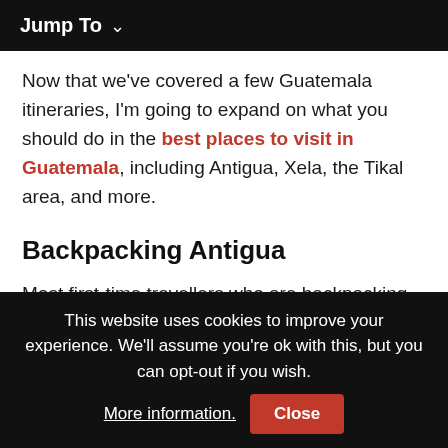Jump To
Now that we've covered a few Guatemala itineraries, I'm going to expand on what you should do in the best places to visit in Guatemala, including Antigua, Xela, the Tikal area, and more.
Backpacking Antigua
Most first-time travellers who are backpacking Guatemala will start their trip in Antigua. This is a classic colonial town with beautiful neighbourhoods to stay at, and a great place
This website uses cookies to improve your experience. We'll assume you're ok with this, but you can opt-out if you wish. More information. Close